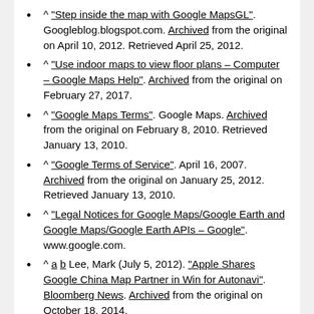^ "Step inside the map with Google MapsGL". Googleblog.blogspot.com. Archived from the original on April 10, 2012. Retrieved April 25, 2012.
^ "Use indoor maps to view floor plans – Computer – Google Maps Help". Archived from the original on February 27, 2017.
^ "Google Maps Terms". Google Maps. Archived from the original on February 8, 2010. Retrieved January 13, 2010.
^ "Google Terms of Service". April 16, 2007. Archived from the original on January 25, 2012. Retrieved January 13, 2010.
^ "Legal Notices for Google Maps/Google Earth and Google Maps/Google Earth APIs – Google". www.google.com.
^ a b Lee, Mark (July 5, 2012). "Apple Shares Google China Map Partner in Win for Autonavi". Bloomberg News. Archived from the original on October 18, 2014.
^ "Improve information in Google Maps for the world to see". Google Maps. Archived from the original on December 12, 2007.
^ Balakrishnan, Ramesh (March 18, 2008). "Google LatLong: It's your world. Map it". Google-latlong.blogspot.com. Archived from the original on